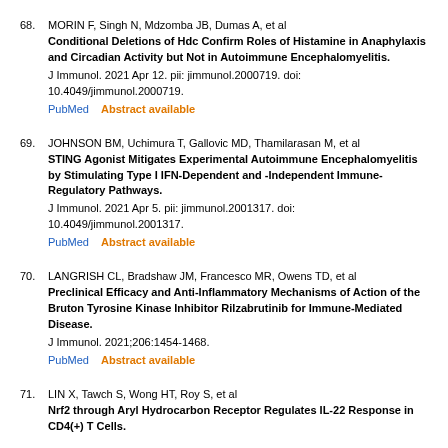68. MORIN F, Singh N, Mdzomba JB, Dumas A, et al. Conditional Deletions of Hdc Confirm Roles of Histamine in Anaphylaxis and Circadian Activity but Not in Autoimmune Encephalomyelitis. J Immunol. 2021 Apr 12. pii: jimmunol.2000719. doi: 10.4049/jimmunol.2000719. PubMed   Abstract available
69. JOHNSON BM, Uchimura T, Gallovic MD, Thamilarasan M, et al. STING Agonist Mitigates Experimental Autoimmune Encephalomyelitis by Stimulating Type I IFN-Dependent and -Independent Immune-Regulatory Pathways. J Immunol. 2021 Apr 5. pii: jimmunol.2001317. doi: 10.4049/jimmunol.2001317. PubMed   Abstract available
70. LANGRISH CL, Bradshaw JM, Francesco MR, Owens TD, et al. Preclinical Efficacy and Anti-Inflammatory Mechanisms of Action of the Bruton Tyrosine Kinase Inhibitor Rilzabrutinib for Immune-Mediated Disease. J Immunol. 2021;206:1454-1468. PubMed   Abstract available
71. LIN X, Tawch S, Wong HT, Roy S, et al. Nrf2 through Aryl Hydrocarbon Receptor Regulates IL-22 Response in CD4(+) T Cells.